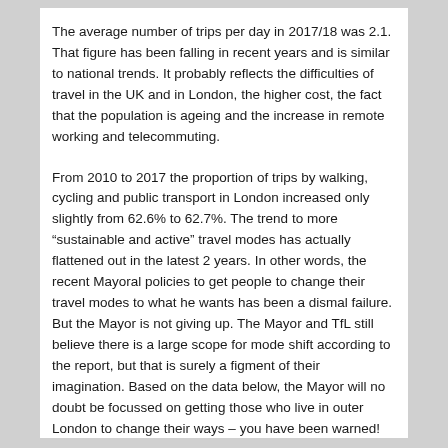The average number of trips per day in 2017/18 was 2.1. That figure has been falling in recent years and is similar to national trends. It probably reflects the difficulties of travel in the UK and in London, the higher cost, the fact that the population is ageing and the increase in remote working and telecommuting.
From 2010 to 2017 the proportion of trips by walking, cycling and public transport in London increased only slightly from 62.6% to 62.7%. The trend to more “sustainable and active” travel modes has actually flattened out in the latest 2 years. In other words, the recent Mayoral policies to get people to change their travel modes to what he wants has been a dismal failure. But the Mayor is not giving up. The Mayor and TfL still believe there is a large scope for mode shift according to the report, but that is surely a figment of their imagination. Based on the data below, the Mayor will no doubt be focussed on getting those who live in outer London to change their ways – you have been warned!